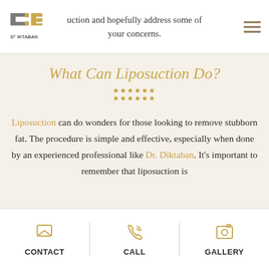uction and hopefully address some of your concerns.
What Can Liposuction Do?
Liposuction can do wonders for those looking to remove stubborn fat. The procedure is simple and effective, especially when done by an experienced professional like Dr. Diktaban. It's important to remember that liposuction is
CONTACT | CALL | GALLERY